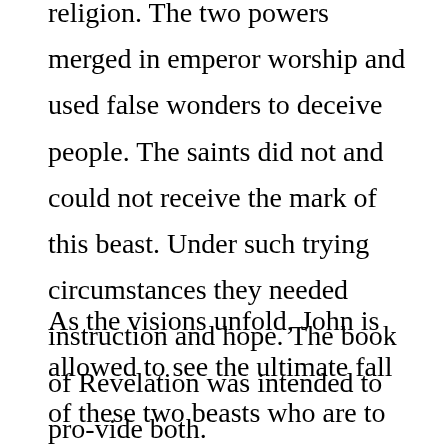religion. The two powers merged in emperor worship and used false wonders to deceive people. The saints did not and could not receive the mark of this beast. Under such trying circumstances they needed instruction and hope. The book of Revelation was intended to pro-vide both.
As the visions unfold, John is allowed to see the ultimate fall of these two beasts who are to be cast into the lake of fire where Satan himself would finally be cast. The